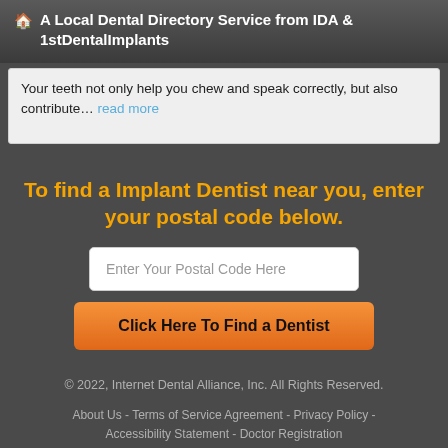A Local Dental Directory Service from IDA & 1stDentalImplants
Your teeth not only help you chew and speak correctly, but also contribute… read more
To find a Implant Dentist near you, enter your postal code below.
Enter Your Postal Code Here
Click Here To Find a Dentist
© 2022, Internet Dental Alliance, Inc. All Rights Reserved.
About Us - Terms of Service Agreement - Privacy Policy - Accessibility Statement - Doctor Registration